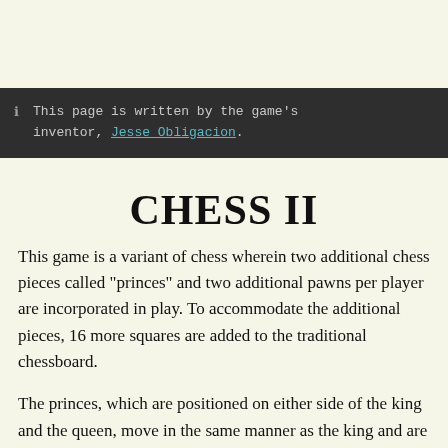ℹ  This page is written by the game's inventor, Jesse Obligacion.
CHESS II
This game is a variant of chess wherein two additional chess pieces called "princes" and two additional pawns per player are incorporated in play. To accommodate the additional pieces, 16 more squares are added to the traditional chessboard.
The princes, which are positioned on either side of the king and the queen, move in the same manner as the king and are promoted to kings when they succeed in